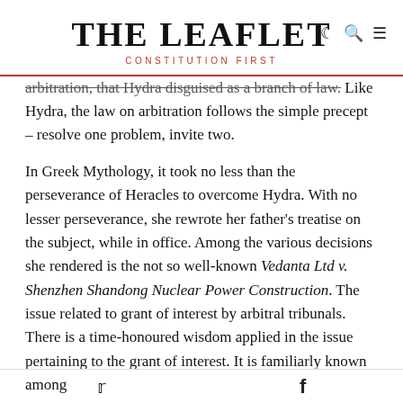THE LEAFLET — CONSTITUTION FIRST
arbitration, that Hydra disguised as a branch of law. Like Hydra, the law on arbitration follows the simple precept – resolve one problem, invite two.
In Greek Mythology, it took no less than the perseverance of Heracles to overcome Hydra. With no lesser perseverance, she rewrote her father's treatise on the subject, while in office. Among the various decisions she rendered is the not so well-known Vedanta Ltd v. Shenzhen Shandong Nuclear Power Construction. The issue related to grant of interest by arbitral tribunals. There is a time-honoured wisdom applied in the issue pertaining to the grant of interest. It is familiarly known among
Twitter  Facebook